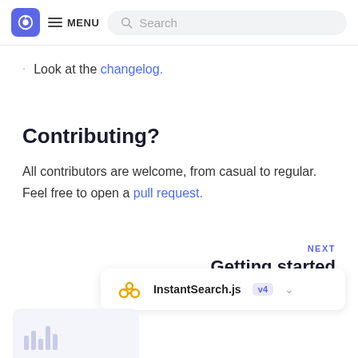MENU Search
Look at the changelog.
Contributing?
All contributors are welcome, from casual to regular. Feel free to open a pull request.
NEXT
Getting started
[Figure (screenshot): Footer widget showing InstantSearch.js v4 version selector with chevron dropdown]